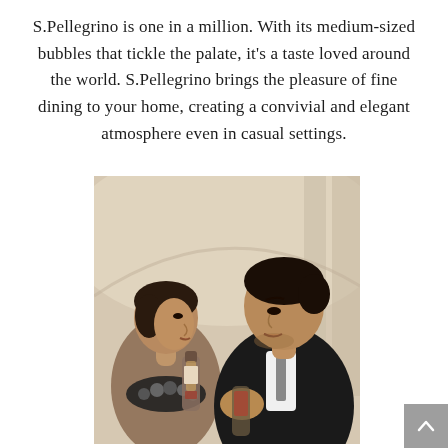S.Pellegrino is one in a million. With its medium-sized bubbles that tickle the palate, it's a taste loved around the world. S.Pellegrino brings the pleasure of fine dining to your home, creating a convivial and elegant atmosphere even in casual settings.
[Figure (photo): Elegant black-and-white style photo of a young woman and man in formal attire sharing a S.Pellegrino bottle in a grand architectural interior setting.]